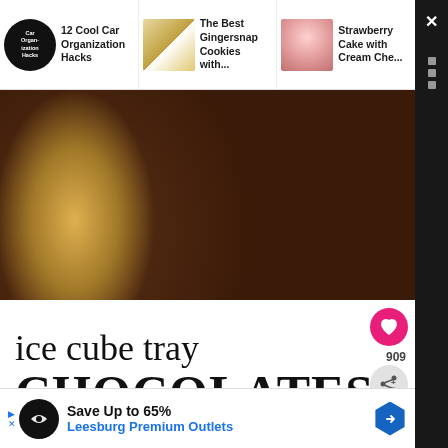[Figure (screenshot): Website navigation bar showing three article thumbnails: '12 Cool Car Organization Hacks' with a circular black logo, 'The Best Gingersnap Cookies with...' with a cookie image, and 'Strawberry Cake with Cream Che...' with a cake image]
[Figure (photo): Close-up photo of chocolate candy pieces - one showing a yellow/caramel filling and one showing a white cream filling, cut in cross-section against a white background]
ice cube tray CHOCOLATES
[Figure (infographic): Pink circular heart/like button, number 909, and a grey circular share button on the right side]
[Figure (photo): Bottom portion of photo showing ice cube tray chocolates with marshmallows and chocolate fillings]
[Figure (infographic): Pink circular search button on right side]
Save Up to 65%
Leesburg Premium Outlets
[Figure (logo): Black circular Leesburg Premium Outlets logo and blue hexagonal arrow navigation icon in advertisement bar at bottom]